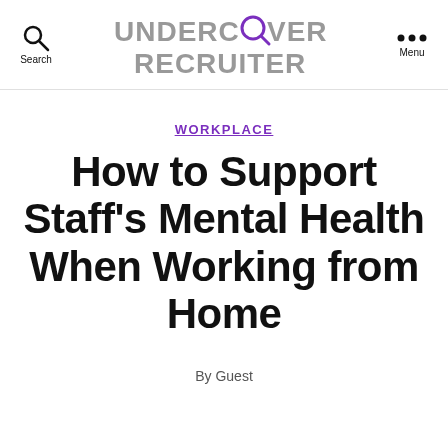UNDERCOVER RECRUITER
WORKPLACE
How to Support Staff's Mental Health When Working from Home
By Guest